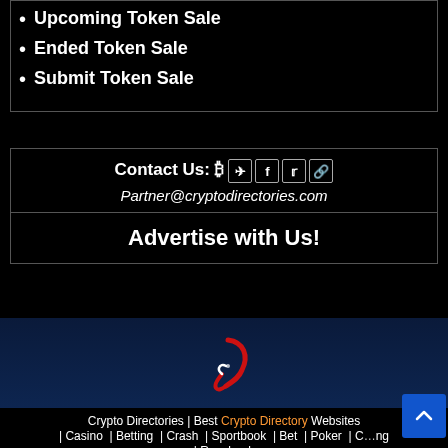Upcoming Token Sale
Ended Token Sale
Submit Token Sale
Contact Us: ₿ [telegram] [facebook] [twitter] [reddit]
Partner@cryptodirectories.com
Advertise with Us!
[Figure (logo): Dark blue banner with a stylized red and white curved logo mark in the center]
Crypto Directories | Best Crypto Directory Websites | Casino | Betting | Crash | Sportbook | Bet | Poker | C...ng | Racebook